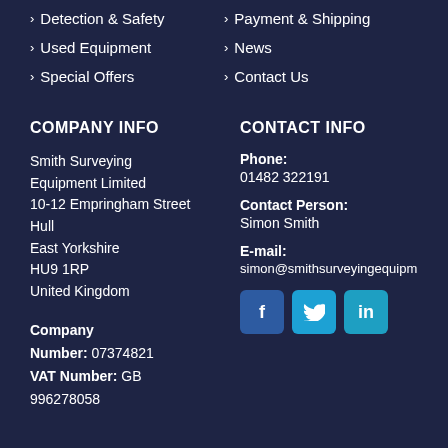> Detection & Safety
> Payment & Shipping
> Used Equipment
> News
> Special Offers
> Contact Us
COMPANY INFO
CONTACT INFO
Smith Surveying Equipment Limited
10-12 Empringham Street
Hull
East Yorkshire
HU9 1RP
United Kingdom
Company Number: 07374821
VAT Number: GB 996278058
Phone:
01482 322191
Contact Person:
Simon Smith
E-mail:
simon@smithsurveyingequipm